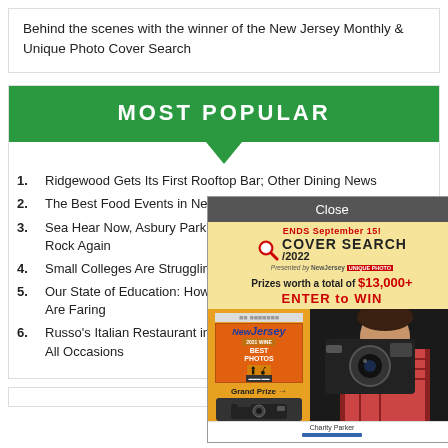Behind the scenes with the winner of the New Jersey Monthly & Unique Photo Cover Search
MOST POPULAR
1. Ridgewood Gets Its First Rooftop Bar; Other Dining News
2. The Best Food Events in New Jerse…
3. Sea Hear Now, Asbury Park's Giant Rock Again
4. Small Colleges Are Struggling. Will…
5. Our State of Education: How New J… Are Faring
6. Russo's Italian Restaurant in Ship B… All Occasions
[Figure (photo): Advertisement popup overlay for New Jersey Monthly & Unique Photo Cover Search 2022. Shows 'Close' button at top, 'ENDS September 15!' text, Cover Search 2022 logo with magnifier, prizes worth $13,000+, Enter to WIN text, New Jersey Monthly magazine cover image, Grand Prize camera, and a person holding a camera.]